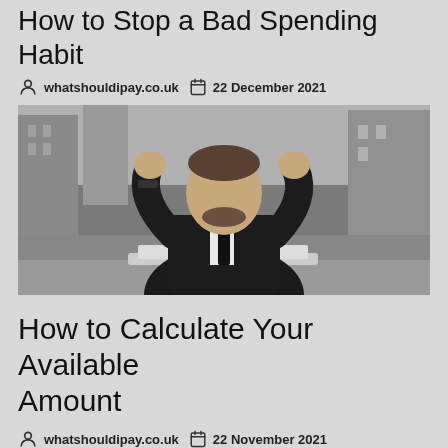How to Stop a Bad Spending Habit
whatshouldipay.co.uk  22 December 2021
[Figure (photo): Man in a dark suit raising both fists in a triumphant or frustrated gesture, sitting at a laptop, outdoors in a city street setting]
How to Calculate Your Available Amount
whatshouldipay.co.uk  22 November 2021